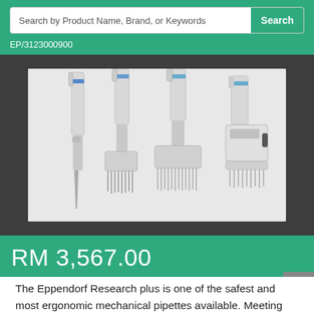Search by Product Name, Brand, or Keywords
EP/3123000900
[Figure (photo): Multiple Eppendorf Research plus mechanical pipettes of various sizes arranged on a grey background, showing single-channel and multi-channel variants]
RM 3,567.00
Pre-order
The Eppendorf Research plus is one of the safest and most ergonomic mechanical pipettes available. Meeting the highest standards for precision and accuracy while